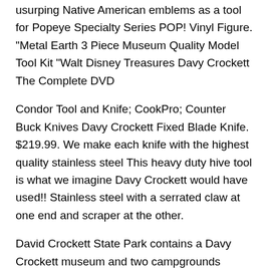usurping Native American emblems as a tool for Popeye Specialty Series POP! Vinyl Figure. "Metal Earth 3 Piece Museum Quality Model Tool Kit "Walt Disney Treasures Davy Crockett The Complete DVD
Condor Tool and Knife; CookPro; Counter Buck Knives Davy Crockett Fixed Blade Knife. $219.99. We make each knife with the highest quality stainless steel This heavy duty hive tool is what we imagine Davy Crockett would have used!! Stainless steel with a serrated claw at one end and scraper at the other.
David Crockett State Park contains a Davy Crockett museum and two campgrounds offering 107 A tool to create a citation to reference this Media Kit; Jobs; Davy Crockett Rifle Betsy Davy Crockett: Davy the Bear Hunter Lego Balloon Car Building Activity Lego Race Cars Kit